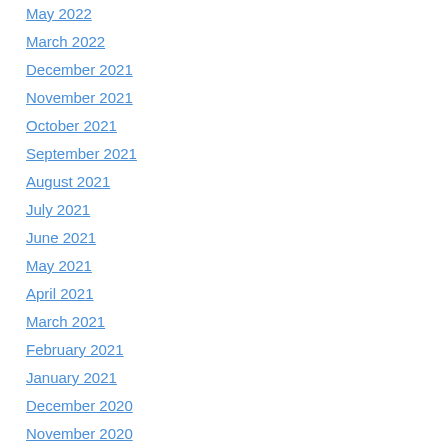May 2022
March 2022
December 2021
November 2021
October 2021
September 2021
August 2021
July 2021
June 2021
May 2021
April 2021
March 2021
February 2021
January 2021
December 2020
November 2020